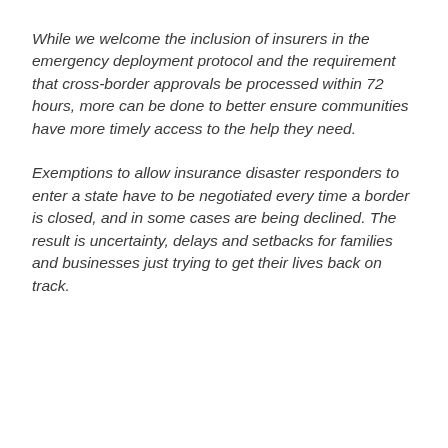While we welcome the inclusion of insurers in the emergency deployment protocol and the requirement that cross-border approvals be processed within 72 hours, more can be done to better ensure communities have more timely access to the help they need.
Exemptions to allow insurance disaster responders to enter a state have to be negotiated every time a border is closed, and in some cases are being declined. The result is uncertainty, delays and setbacks for families and businesses just trying to get their lives back on track.